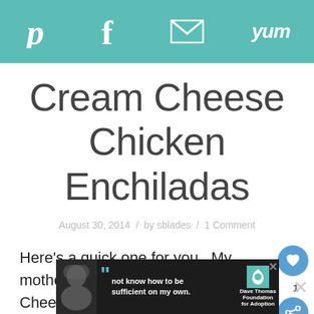Social sharing bar with Pinterest, Facebook, Email, and Yum icons
Cream Cheese Chicken Enchiladas
August 30, 2014  /  by sblades  /  1 Comment
Here's a quick one for you.  My mother-in-law makes these Cream Cheese Chicken E...
[Figure (other): Advertisement overlay with dark background, person in hat, quote text 'not know how to be sufficient on my own.', Dave Thomas Foundation for Adoption logo]